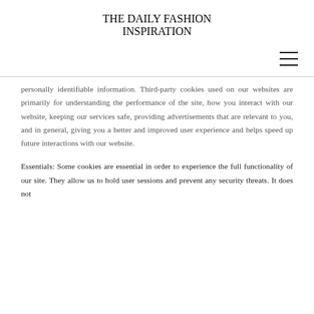THE DAILY FASHION INSPIRATION
personally identifiable information. Third-party cookies used on our websites are primarily for understanding the performance of the site, how you interact with our website, keeping our services safe, providing advertisements that are relevant to you, and in general, giving you a better and improved user experience and helps speed up future interactions with our website.
Essentials: Some cookies are essential in order to experience the full functionality of our site. They allow us to hold user sessions and prevent any security threats. It does not